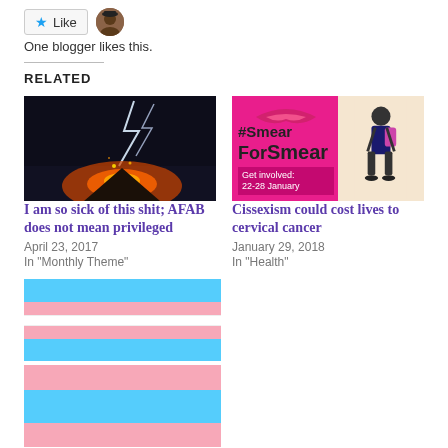One blogger likes this.
RELATED
[Figure (photo): Dark nighttime photo of a volcano erupting with lightning and orange fire]
I am so sick of this shit; AFAB does not mean privileged
April 23, 2017
In "Monthly Theme"
[Figure (photo): #SmearForSmear campaign image with pink background and text Get involved: 22-28 January]
Cissexism could cost lives to cervical cancer
January 29, 2018
In "Health"
[Figure (illustration): Transgender pride flag with blue, pink and white stripes]
[Figure (illustration): Transgender pride flag with blue, pink and white stripes]
Dear cisgender feminists,